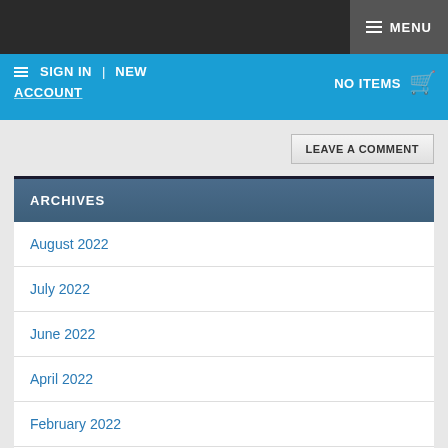MENU
SIGN IN | NEW ACCOUNT   NO ITEMS
LEAVE A COMMENT
ARCHIVES
August 2022
July 2022
June 2022
April 2022
February 2022
November 2021
June 2021
May 2021